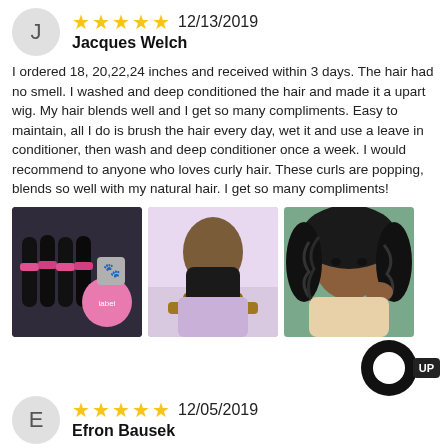J
★★★★★ 12/13/2019
Jacques Welch
I ordered 18, 20,22,24 inches and received within 3 days. The hair had no smell. I washed and deep conditioned the hair and made it a upart wig. My hair blends well and I get so many compliments. Easy to maintain, all I do is brush the hair every day, wet it and use a leave in conditioner, then wash and deep conditioner once a week. I would recommend to anyone who loves curly hair. These curls are popping, blends so well with my natural hair. I get so many compliments!
[Figure (photo): Three photos: bundled black curly hair extensions with pink packaging, back view of person with straight black hair, front view of person with curly dark hair]
E
★★★★★ 12/05/2019
Efron Bausek